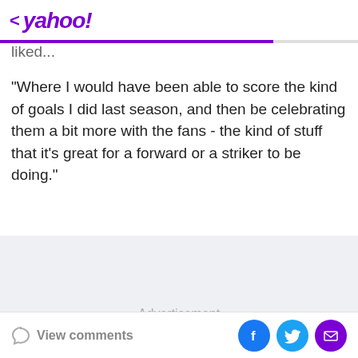< yahoo!
liked...
"Where I would have been able to score the kind of goals I did last season, and then be celebrating them a bit more with the fans - the kind of stuff that it's great for a forward or a striker to be doing."
Advertisement
View comments